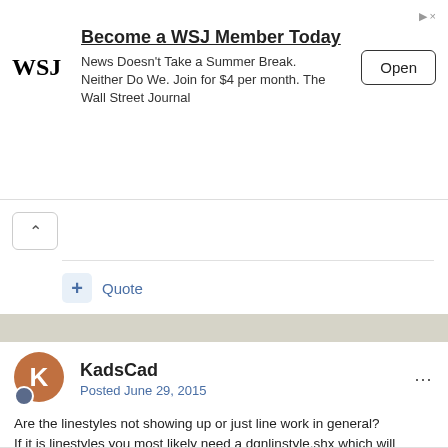[Figure (screenshot): WSJ advertisement banner: 'Become a WSJ Member Today' with WSJ logo, subtext 'News Doesn't Take a Summer Break. Neither Do We. Join for $4 per month. The Wall Street Journal', and an Open button.]
Quote
KadsCad
Posted June 29, 2015
Are the linestyles not showing up or just line work in general?
If it is linestyles you most likely need a dgnlinstyle.shx which will contain Microstation linestyles and custom linestlyes. Note some custom linestyles are not compatible with ACAD.
you can google dgnlinestyle.shx and download the basic linestyles